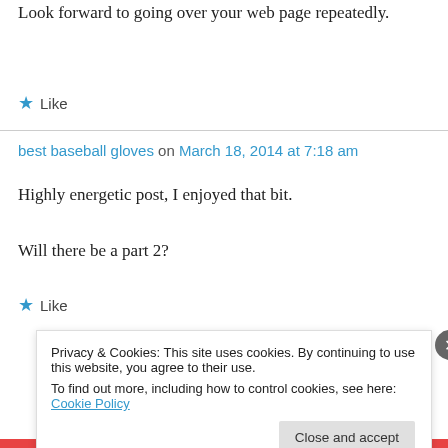Look forward to going over your web page repeatedly.
★ Like
best baseball gloves on March 18, 2014 at 7:18 am
Highly energetic post, I enjoyed that bit.
Will there be a part 2?
★ Like
Privacy & Cookies: This site uses cookies. By continuing to use this website, you agree to their use. To find out more, including how to control cookies, see here: Cookie Policy
Close and accept